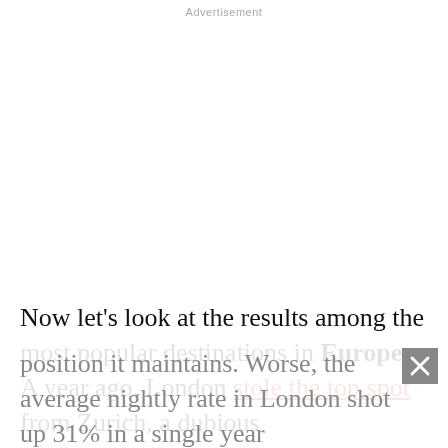Advertisement
Now let's look at the results among the most popular destinations in Europe. A year ago, London stole the top spot from Zurich, a dubious position it maintains. Worse, the average nightly rate in London shot up 31% in a single year